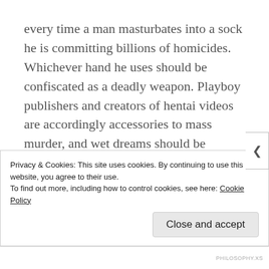every time a man masturbates into a sock he is committing billions of homicides.  Whichever hand he uses should be confiscated as a deadly weapon.  Playboy publishers and creators of hentai videos are accordingly accessories to mass murder, and wet dreams should be recategorized as involuntary manslaughter.  Who weeps for those dear, precious unborn, lost forever to that episode of Star Trek: Picard where Seven and Raffi finally give in to their unspoken passions?  I am still waiting to see the Oklahoma or Alabama state legislatures table the
Privacy & Cookies: This site uses cookies. By continuing to use this website, you agree to their use.
To find out more, including how to control cookies, see here: Cookie Policy
Close and accept
PHILOSOPHY.XS